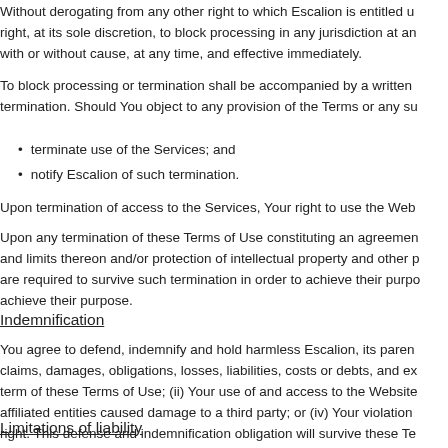Without derogating from any other right to which Escalion is entitled u... right, at its sole discretion, to block processing in any jurisdiction at an... with or without cause, at any time, and effective immediately.
To block processing or termination shall be accompanied by a written... termination. Should You object to any provision of the Terms or any su...
terminate use of the Services; and
notify Escalion of such termination.
Upon termination of access to the Services, Your right to use the Web...
Upon any termination of these Terms of Use constituting an agreemen... and limits thereon and/or protection of intellectual property and other p... are required to survive such termination in order to achieve their purpo... achieve their purpose.
Indemnification
You agree to defend, indemnify and hold harmless Escalion, its paren... claims, damages, obligations, losses, liabilities, costs or debts, and ex... term of these Terms of Use; (ii) Your use of and access to the Website... affiliated entities caused damage to a third party; or (iv) Your violation... right. This defense and indemnification obligation will survive these Te...
Limitations of liability